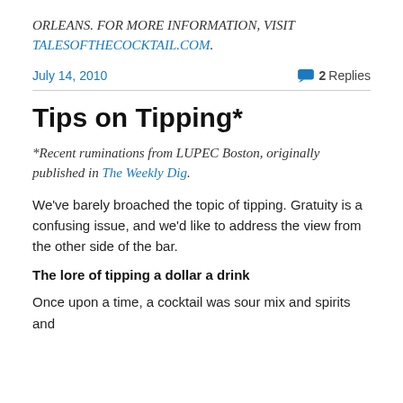ORLEANS. FOR MORE INFORMATION, VISIT TALESOFTHECOCKTAIL.COM.
July 14, 2010   2 Replies
Tips on Tipping*
*Recent ruminations from LUPEC Boston, originally published in The Weekly Dig.
We've barely broached the topic of tipping. Gratuity is a confusing issue, and we'd like to address the view from the other side of the bar.
The lore of tipping a dollar a drink
Once upon a time, a cocktail was sour mix and spirits and